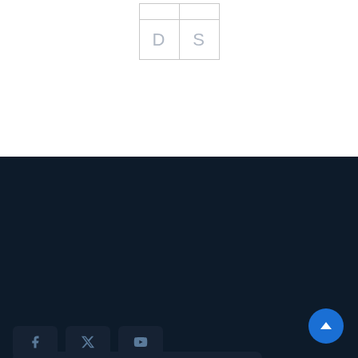[Figure (logo): A grid logo with two columns and two rows. Top row contains two empty cells. Bottom row contains letters 'D' and 'S' in light gray.]
Enter Your Email :
SUBSCRIBE →
[Figure (other): Social media icon buttons (Facebook, Twitter/X, YouTube) in dark rounded boxes at the bottom left.]
[Figure (other): Scroll-to-top button: blue circle with white chevron/up arrow, bottom right corner.]